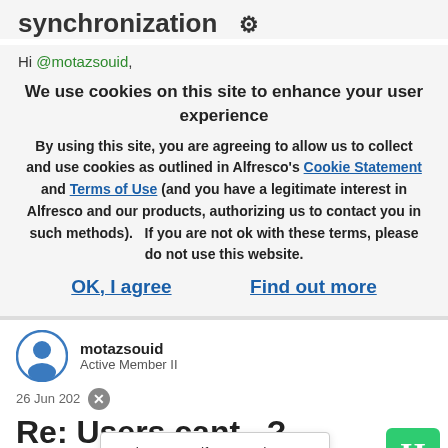synchronization
Hi @motazsouid,
We use cookies on this site to enhance your user experience
By using this site, you are agreeing to allow us to collect and use cookies as outlined in Alfresco's Cookie Statement and Terms of Use (and you have a legitimate interest in Alfresco and our products, authorizing us to contact you in such methods).   If you are not ok with these terms, please do not use this website.
OK, I agree
Find out more
motazsouid
Active Member II
26 Jun 202
Welcome to Alfresco! What brought you here to check us out?
Re: Users cant